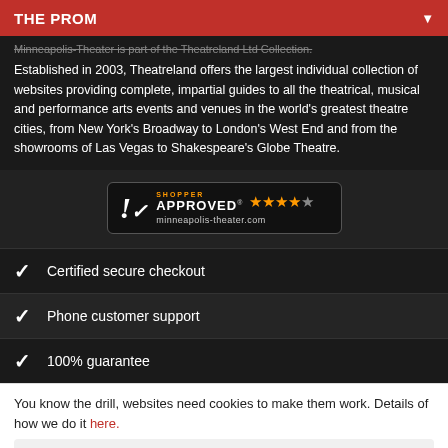THE PROM
Minneapolis-Theater is part of the Theatreland Ltd Collection. Established in 2003, Theatreland offers the largest individual collection of websites providing complete, impartial guides to all the theatrical, musical and performance arts events and venues in the world's greatest theatre cities, from New York's Broadway to London's West End and from the showrooms of Las Vegas to Shakespeare's Globe Theatre.
[Figure (logo): Shopper Approved badge with 4 orange stars and 1 grey star, showing minneapolis-theater.com]
Certified secure checkout
Phone customer support
100% guarantee
You know the drill, websites need cookies to make them work. Details of how we do it here.